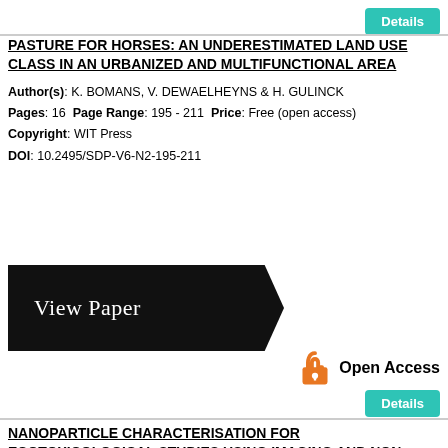[Figure (other): Details button (teal/cyan rounded rectangle) at top right]
PASTURE FOR HORSES: AN UNDERESTIMATED LAND USE CLASS IN AN URBANIZED AND MULTIFUNCTIONAL AREA
Author(s): K. BOMANS, V. DEWAELHEYNS & H. GULINCK
Pages: 16 Page Range: 195 - 211 Price: Free (open access)
Copyright: WIT Press
DOI: 10.2495/SDP-V6-N2-195-211
[Figure (other): Black arrow-shaped 'View Paper' button]
[Figure (logo): Open Access padlock icon in orange with 'Open Access' label]
[Figure (other): Details button (teal/cyan rounded rectangle)]
NANOPARTICLE CHARACTERISATION FOR ECOTOXICOLOGICAL STUDIES USING IMAGING AND NON-IMAGING BASED TOOLS
Author(s): R. TANTRA, D. GOHIL, S. KALIYAPPAN & S. JING
Pages: 13 Page Range: 212 - 225 Price: Free (open access)